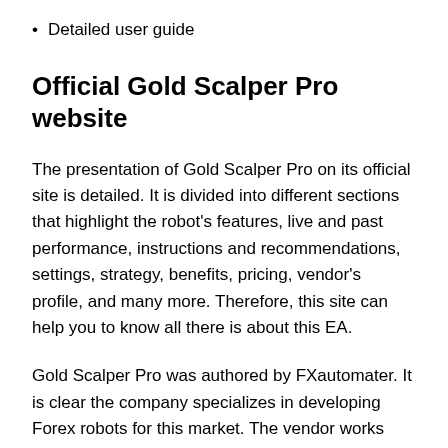Detailed user guide
Official Gold Scalper Pro website
The presentation of Gold Scalper Pro on its official site is detailed. It is divided into different sections that highlight the robot’s features, live and past performance, instructions and recommendations, settings, strategy, benefits, pricing, vendor’s profile, and many more. Therefore, this site can help you to know all there is about this EA.
Gold Scalper Pro was authored by FXautomater. It is clear the company specializes in developing Forex robots for this market. The vendor works with